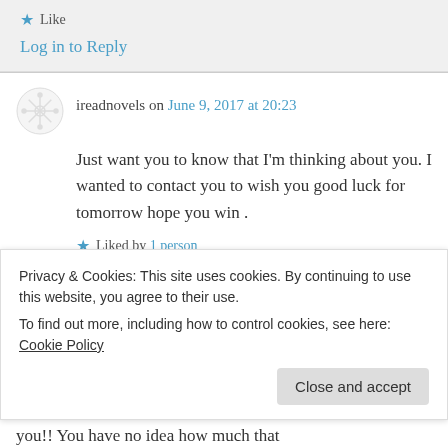Like
Log in to Reply
ireadnovels on June 9, 2017 at 20:23
Just want you to know that I'm thinking about you. I wanted to contact you to wish you good luck for tomorrow hope you win .
Liked by 1 person
Log in to Reply
Privacy & Cookies: This site uses cookies. By continuing to use this website, you agree to their use.
To find out more, including how to control cookies, see here: Cookie Policy
Close and accept
you!! You have no idea how much that